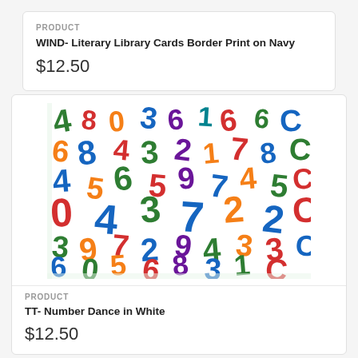PRODUCT
WIND- Literary Library Cards Border Print on Navy
$12.50
[Figure (photo): Colorful numbers pattern fabric on white background - TT Number Dance in White]
PRODUCT
TT- Number Dance in White
$12.50